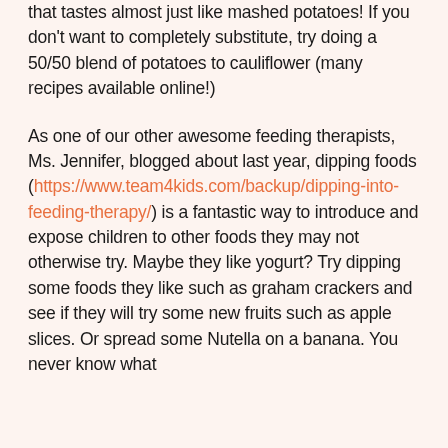that tastes almost just like mashed potatoes! If you don't want to completely substitute, try doing a 50/50 blend of potatoes to cauliflower (many recipes available online!)
As one of our other awesome feeding therapists, Ms. Jennifer, blogged about last year, dipping foods (https://www.team4kids.com/backup/dipping-into-feeding-therapy/) is a fantastic way to introduce and expose children to other foods they may not otherwise try. Maybe they like yogurt? Try dipping some foods they like such as graham crackers and see if they will try some new fruits such as apple slices. Or spread some Nutella on a banana. You never know what